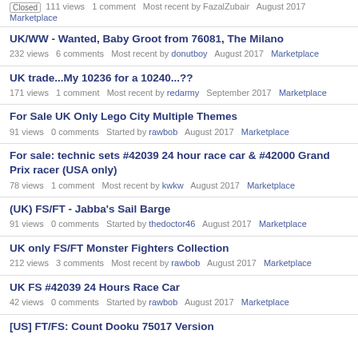Closed · 111 views · 1 comment · Most recent by FazalZubair · August 2017 · Marketplace
UK/WW - Wanted, Baby Groot from 76081, The Milano
232 views   6 comments   Most recent by donutboy   August 2017   Marketplace
UK trade...My 10236 for a 10240...??
171 views   1 comment   Most recent by redarmy   September 2017   Marketplace
For Sale UK Only Lego City Multiple Themes
91 views   0 comments   Started by rawbob   August 2017   Marketplace
For sale: technic sets #42039 24 hour race car & #42000 Grand Prix racer (USA only)
78 views   1 comment   Most recent by kwkw   August 2017   Marketplace
(UK) FS/FT - Jabba's Sail Barge
91 views   0 comments   Started by thedoctor46   August 2017   Marketplace
UK only FS/FT Monster Fighters Collection
212 views   3 comments   Most recent by rawbob   August 2017   Marketplace
UK FS #42039 24 Hours Race Car
42 views   0 comments   Started by rawbob   August 2017   Marketplace
[US] FT/FS: Count Dooku 75017 Version